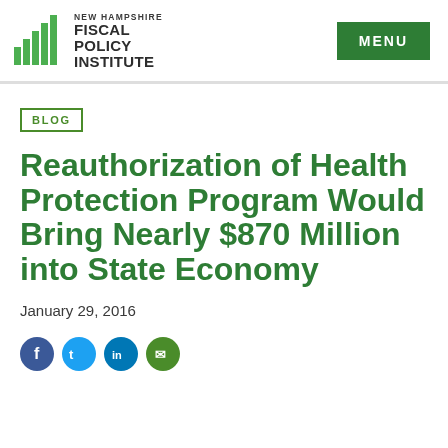[Figure (logo): New Hampshire Fiscal Policy Institute logo with green bar chart icon and text 'NEW HAMPSHIRE FISCAL POLICY INSTITUTE']
MENU
BLOG
Reauthorization of Health Protection Program Would Bring Nearly $870 Million into State Economy
January 29, 2016
[Figure (illustration): Social media share icons: Facebook, Twitter, LinkedIn, email]